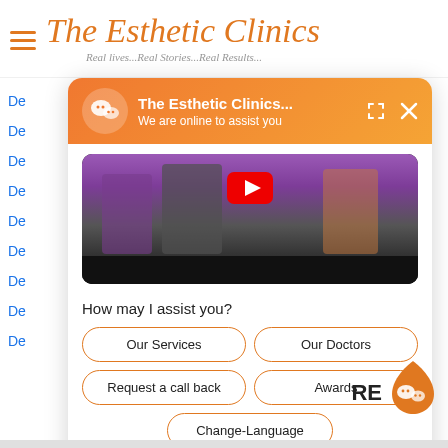The Esthetic Clinics
Real lives...Real Stories...Real Results...
De
De
De
De
De
De
De
De
De
[Figure (screenshot): Chat widget popup from The Esthetic Clinics showing WeChat-style interface with orange gradient header saying 'The Esthetic Clinics... We are online to assist you', a video thumbnail below, and quick-reply buttons: Our Services, Our Doctors, Request a call back, Awards, Change-Language]
How may I assist you?
Our Services
Our Doctors
Request a call back
Awards
Change-Language
Type your message...
Powered by Kenyt.AI